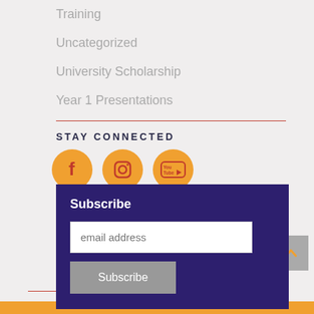Training
Uncategorized
University Scholarship
Year 1 Presentations
STAY CONNECTED
[Figure (infographic): Three orange social media circle icons: Facebook (f), Instagram (camera), YouTube (play button with 'You Tube' text)]
Subscribe
email address
Subscribe